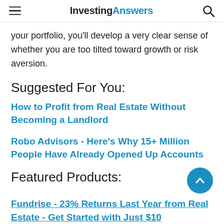InvestingAnswers
your portfolio, you'll develop a very clear sense of whether you are too tilted toward growth or risk aversion.
Suggested For You:
How to Profit from Real Estate Without Becoming a Landlord
Robo Advisors - Here's Why 15+ Million People Have Already Opened Up Accounts
Featured Products:
Fundrise - 23% Returns Last Year from Real Estate - Get Started with Just $10